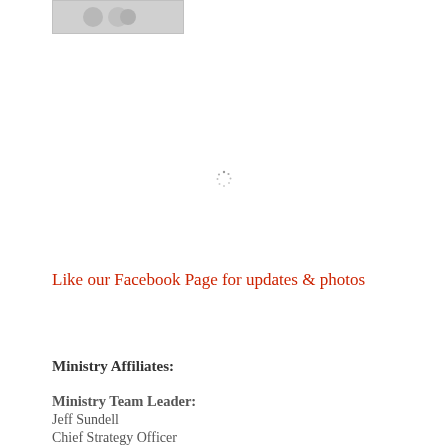[Figure (photo): Partially visible photo placeholder at top left]
[Figure (other): Loading spinner icon]
Like our Facebook Page for updates & photos
Ministry Affiliates:
Ministry Team Leader:
Jeff Sundell
Chief Strategy Officer
e3 Partners
Missions Organization: